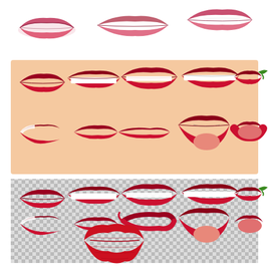[Figure (illustration): Collection of illustrated lips and mouth expressions. Top row: three pink/rose-colored lip illustrations on white background. Middle section: ten red lip/mouth illustrations on peach/skin-tone background showing various expressions including closed lips, smiling teeth, open mouth with tongue, and a chili pepper. Bottom section: same ten red lip/mouth illustrations repeated on transparent (checkered) background. Bottom: large red lip print / kiss mark illustration on white background.]